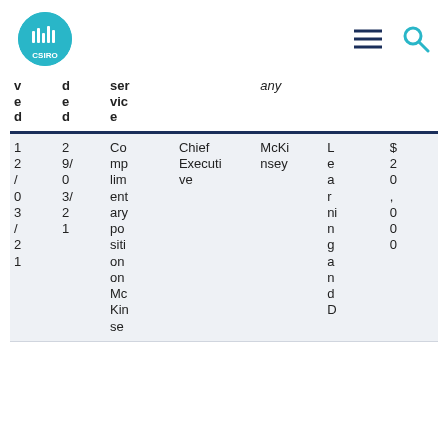CSIRO logo, navigation menu icon, search icon
| ved | dded | service |  | any |  |  |
| --- | --- | --- | --- | --- | --- | --- |
| 12/03/21 | 29/03/21 | Complimentary position on McKinsey | Chief Executive | McKinsey | Learning and D | $20,000 |